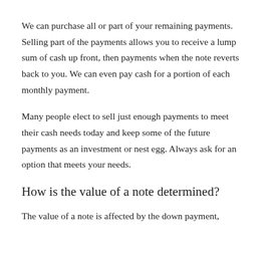We can purchase all or part of your remaining payments. Selling part of the payments allows you to receive a lump sum of cash up front, then payments when the note reverts back to you. We can even pay cash for a portion of each monthly payment.
Many people elect to sell just enough payments to meet their cash needs today and keep some of the future payments as an investment or nest egg. Always ask for an option that meets your needs.
How is the value of a note determined?
The value of a note is affected by the down payment,